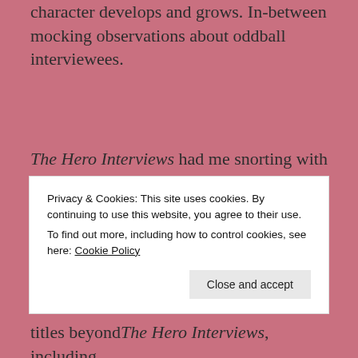character develops and grows. In-between mocking observations about oddball interviewees.
The Hero Interviews had me snorting with laughter (it was not a pretty sight, let me tell you). It is easily one of the funniest books I've ever read, and I loved every minute of it. The Hero Interviews should come with a warning: will cause side-splitting
Privacy & Cookies: This site uses cookies. By continuing to use this website, you agree to their use.
To find out more, including how to control cookies, see here: Cookie Policy
titles beyond The Hero Interviews, including